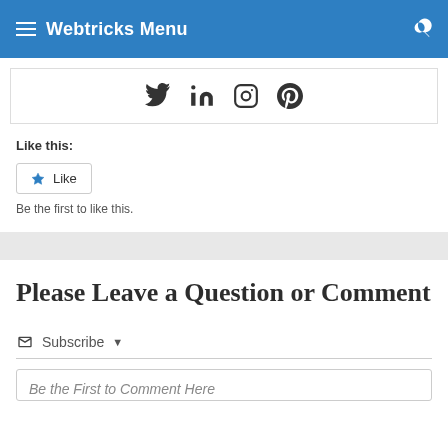Webtricks Menu
[Figure (other): Social media icons: Twitter, LinkedIn, Instagram, Pinterest]
Like this:
Like
Be the first to like this.
Please Leave a Question or Comment
Subscribe
Be the First to Comment Here